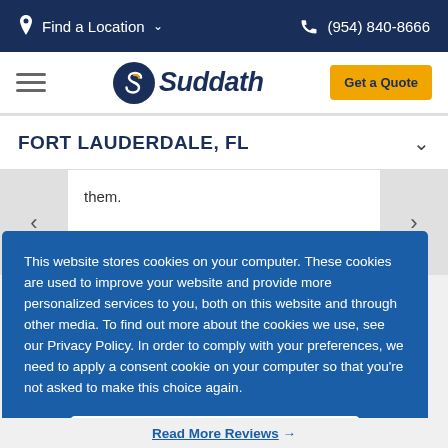Find a Location  ∨    (954) 840-8666
[Figure (logo): Suddath company logo with stylized S icon in blue and gold, and hamburger menu icon on left, Get a Quote button on right]
FORT LAUDERDALE, FL
them.
This website stores cookies on your computer. These cookies are used to improve your website and provide more personalized services to you, both on this website and through other media. To find out more about the cookies we use, see our Privacy Policy. In order to comply with your preferences, we need to apply a consent cookie on your computer so that you're not asked to make this choice again.
Accept
Read More Reviews →